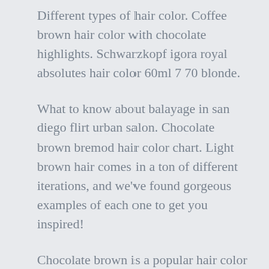Different types of hair color. Coffee brown hair color with chocolate highlights. Schwarzkopf igora royal absolutes hair color 60ml 7 70 blonde.
What to know about balayage in san diego flirt urban salon. Chocolate brown bremod hair color chart. Light brown hair comes in a ton of different iterations, and we've found gorgeous examples of each one to get you inspired!
Chocolate brown is a popular hair color for morena skin. For a more trendy and modish look, you can also play around with colors like light brown and ash brown. Natural wood tones vary, so expect your final stain color to vary slightly from board to board.
Schwarzkopf hair color...